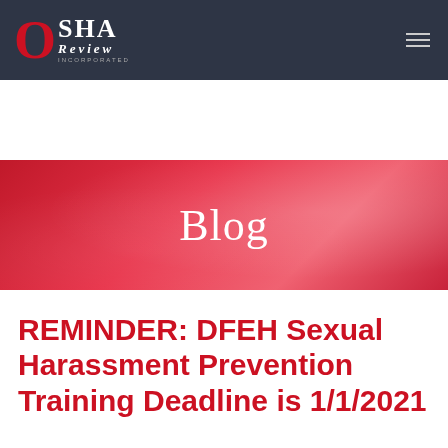OSHA Review Incorporated — navigation bar
Blog
[Figure (logo): California Department of Fair Employment and Housing seal/logo]
California Department of Fair Employment and Housing
REMINDER: DFEH Sexual Harassment Prevention Training Deadline is 1/1/2021
August 25, 2020   OSHA Review